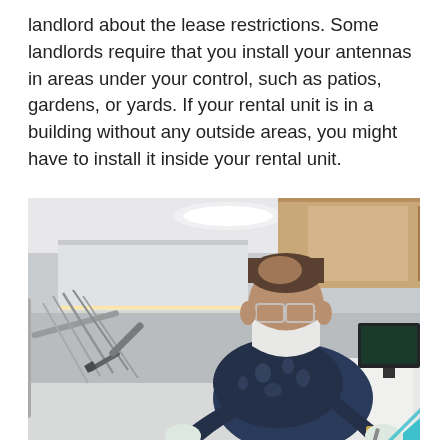landlord about the lease restrictions. Some landlords require that you install your antennas in areas under your control, such as patios, gardens, or yards. If your rental unit is in a building without any outside areas, you might have to install it inside your rental unit.
[Figure (photo): A dentist wearing a surgical mask, safety glasses, and gloves working on a patient in a modern dental office. Dental instruments and equipment are visible in the foreground.]